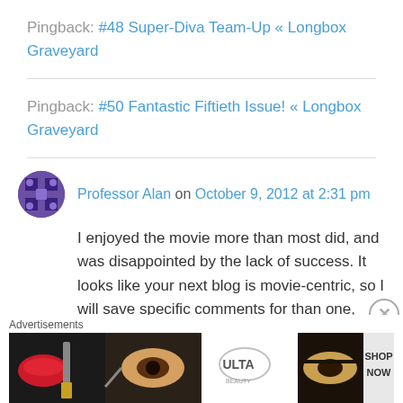Pingback: #48 Super-Diva Team-Up « Longbox Graveyard
Pingback: #50 Fantastic Fiftieth Issue! « Longbox Graveyard
Professor Alan on October 9, 2012 at 2:31 pm
I enjoyed the movie more than most did, and was disappointed by the lack of success. It looks like your next blog is movie-centric, so I will save specific comments for than one, and focus on
Advertisements